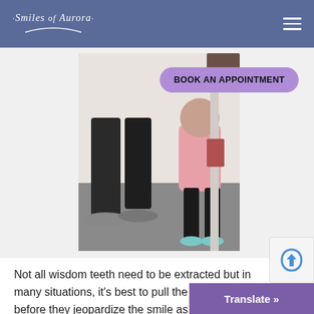Smiles of Aurora
[Figure (photo): Dental office scene showing an adult (lower body visible, wearing dark pants and gray sneakers) standing next to a young child in a pink jacket and black leggings with colorful shoes, both facing away from camera in what appears to be a dental X-ray or examination area. A purple 'BOOK AN APPOINTMENT' button overlays the upper right of the image.]
Not all wisdom teeth need to be extracted but in many situations, it's best to pull the wisdom t... before they jeopardize the smile as a whole. O... pediatric dentistry specialists can de...